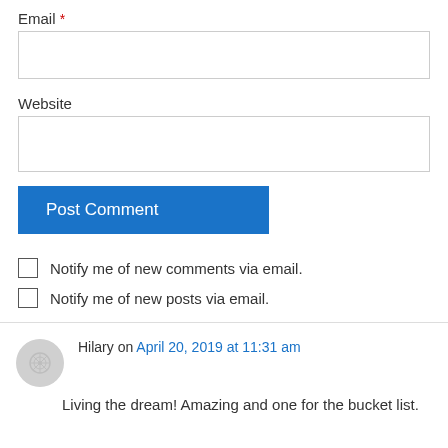Email *
Website
Post Comment
Notify me of new comments via email.
Notify me of new posts via email.
Hilary on April 20, 2019 at 11:31 am
Living the dream! Amazing and one for the bucket list.